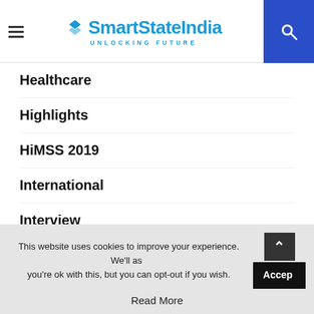SmartStateIndia UNLOCKING FUTURE
Healthcare
Highlights
HiMSS 2019
International
Interview
IOT
Machine Learning
Mobility
News
Open Source
Re:Invent2018
This website uses cookies to improve your experience. We'll assume you're ok with this, but you can opt-out if you wish.  Read More